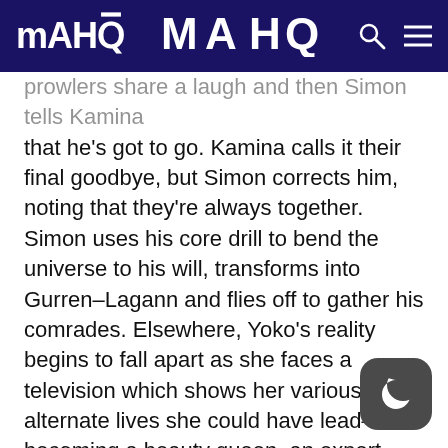MAHQ
prowlers share a laugh and then Simon tells Kamina that he's got to go. Kamina calls it their final goodbye, but Simon corrects him, noting that they're always together. Simon uses his core drill to bend the universe to his will, transforms into Gurren-Lagann and flies off to gather his comrades. Elsewhere, Yoko's reality begins to fall apart as she faces a television which shows her various alternate lives she could have lead–becoming a beauty queen, an expert sharpshooter, or even Kittan's bride. Yoko, now back to her normal self, turns off the television, which is being held by a silent Kamina standing on the cliff where the two of them shared a moment before Kamina's final battle. Yoko thanks him, and seeing him look toward a green comet in the distance, grabs her own core drill and flies off to join